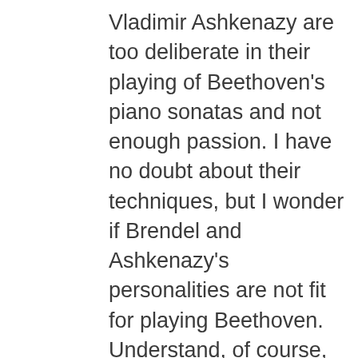Vladimir Ashkenazy are too deliberate in their playing of Beethoven's piano sonatas and not enough passion. I have no doubt about their techniques, but I wonder if Brendel and Ashkenazy's personalities are not fit for playing Beethoven. Understand, of course, that is just my personal opinion. Martha Argerich is way too fast, and it feels like she is trying to catch a train that is about to leave station. Artur Schnabel is a little too fast but otherwise I quite like his interpretation. Finally, Richard